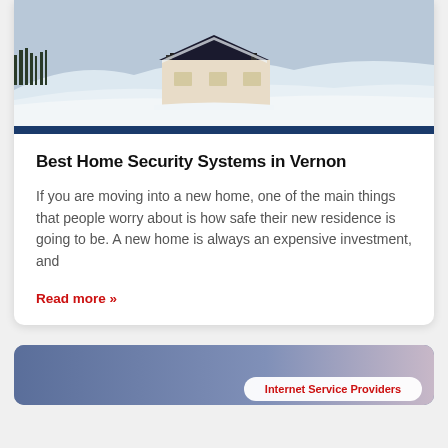[Figure (photo): Winter snow scene with a small house or barn partially buried in snow, surrounded by snowy fields and trees in the background]
Best Home Security Systems in Vernon
If you are moving into a new home, one of the main things that people worry about is how safe their new residence is going to be. A new home is always an expensive investment, and
Read more »
[Figure (screenshot): Bottom card with purple/blue gradient background, partially visible, showing a white pill-shaped button with red text 'Internet Service Providers']